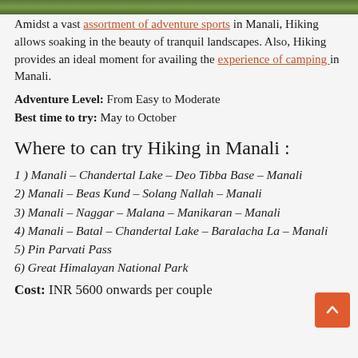[Figure (photo): Green nature/forest image strip at top of page]
Amidst a vast assortment of adventure sports in Manali, Hiking allows soaking in the beauty of tranquil landscapes. Also, Hiking provides an ideal moment for availing the experience of camping in Manali.
Adventure Level: From Easy to Moderate
Best time to try: May to October
Where to can try Hiking in Manali :
1 ) Manali – Chandertal Lake – Deo Tibba Base – Manali
2) Manali – Beas Kund – Solang Nallah – Manali
3) Manali – Naggar – Malana – Manikaran – Manali
4) Manali – Batal – Chandertal Lake – Baralacha La – Manali
5) Pin Parvati Pass
6) Great Himalayan National Park
Cost: INR 5600 onwards per couple